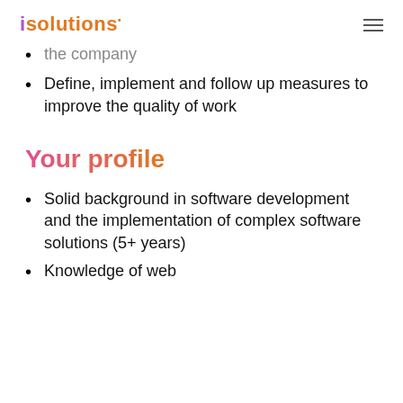isolutions
the company
Define, implement and follow up measures to improve the quality of work
Your profile
Solid background in software development and the implementation of complex software solutions (5+ years)
Knowledge of web